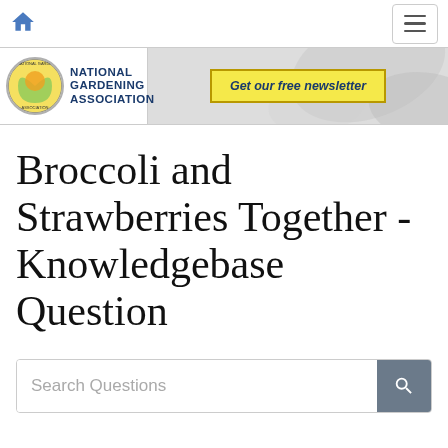National Gardening Association
Broccoli and Strawberries Together - Knowledgebase Question
Search Questions